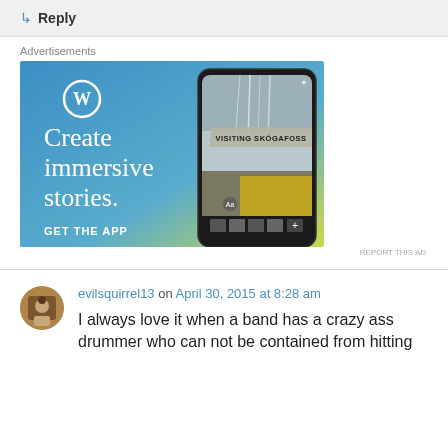↳ Reply
Advertisements
[Figure (screenshot): WordPress advertisement banner with blue-to-yellow gradient background, WordPress logo (W in circle), text 'Create immersive stories.' and 'GET THE APP', with a smartphone showing 'VISITING SKÓGAFOSS' waterfall photo]
REPORT THIS AD
evilsquirrel13 on April 30, 2015 at 8:28 am
I always love it when a band has a crazy ass drummer who can not be contained from hitting